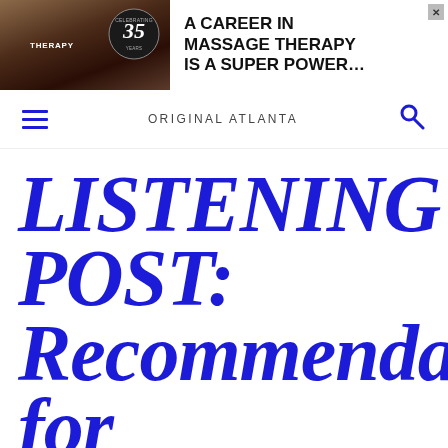[Figure (illustration): Advertisement banner for massage therapy career with text 'A CAREER IN MASSAGE THERAPY IS A SUPER POWER...' with badge showing '35']
ORIGINAL ATLANTA
LISTENING POST: Recommendations for February into March